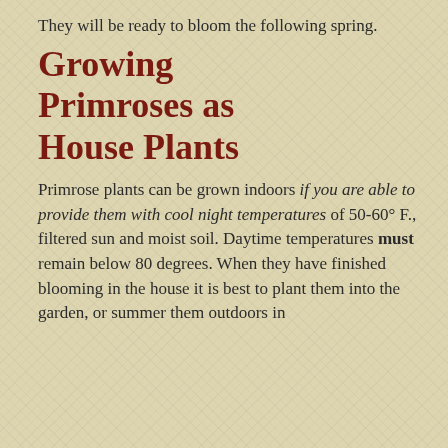They will be ready to bloom the following spring.
Growing Primroses as House Plants
Primrose plants can be grown indoors if you are able to provide them with cool night temperatures of 50-60° F., filtered sun and moist soil. Daytime temperatures must remain below 80 degrees. When they have finished blooming in the house it is best to plant them into the garden, or summer them outdoors in